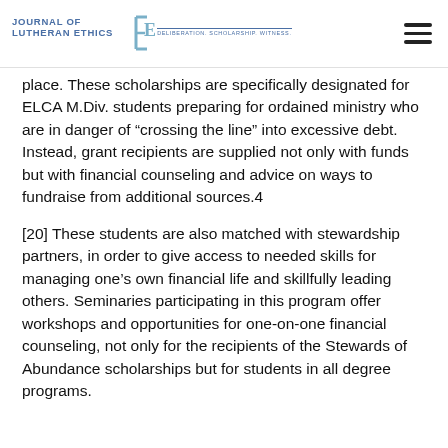Journal of Lutheran Ethics — Deliberation. Scholarship. Witness.
place. These scholarships are specifically designated for ELCA M.Div. students preparing for ordained ministry who are in danger of “crossing the line” into excessive debt. Instead, grant recipients are supplied not only with funds but with financial counseling and advice on ways to fundraise from additional sources.4
[20] These students are also matched with stewardship partners, in order to give access to needed skills for managing one’s own financial life and skillfully leading others. Seminaries participating in this program offer workshops and opportunities for one-on-one financial counseling, not only for the recipients of the Stewards of Abundance scholarships but for students in all degree programs.